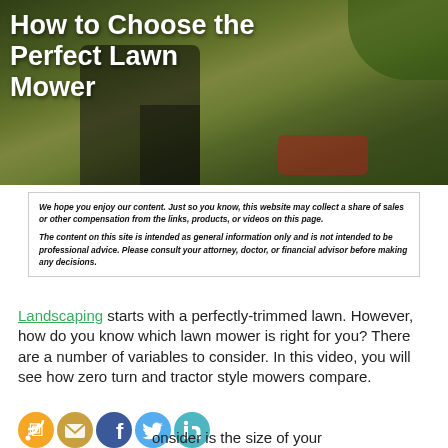[Figure (photo): Hero image of a person mowing a lawn with a push mower on a grass yard with fallen leaves; white bold title text overlaid: 'How to Choose the Perfect Lawn Mower']
How to Choose the Perfect Lawn Mower
We hope you enjoy our content. Just so you know, this website may collect a share of sales or other compensation from the links, products, or videos on this page.

The content on this site is intended as general information only and is not intended to be professional advice. Please consult your attorney, doctor, or financial advisor before making any decisions.
Landscaping starts with a perfectly-trimmed lawn. However, how do you know which lawn mower is right for you? There are a number of variables to consider. In this video, you will see how zero turn and tractor style mowers compare.
One thing to always consider is the size of your